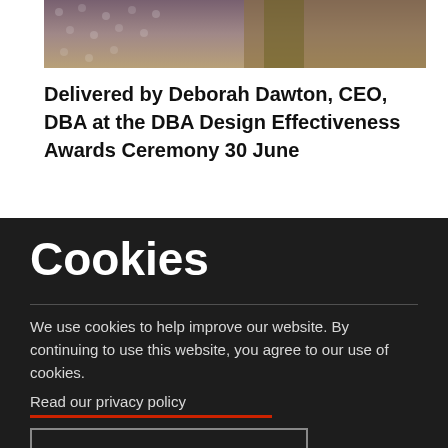[Figure (photo): Partial photo of a person wearing a patterned top, cropped to show shoulders and bottom of face only]
Delivered by Deborah Dawton, CEO, DBA at the DBA Design Effectiveness Awards Ceremony 30 June
Cookies
We use cookies to help improve our website. By continuing to use this website, you agree to our use of cookies.
Read our privacy policy
Accept and close  x